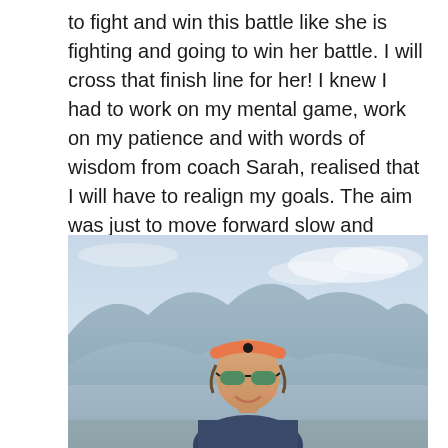to fight and win this battle like she is fighting and going to win her battle. I will cross that finish line for her! I knew I had to work on my mental game, work on my patience and with words of wisdom from coach Sarah, realised that I will have to realign my goals. The aim was just to move forward slow and steady and cross the finish line with a smile! And I did! Oh what a feeling!
[Figure (photo): A woman wearing a pink Ironman visor and green-tinted sunglasses, smiling, with mountains and a hazy blue sky in the background. She appears to be participating in an Ironman triathlon event.]